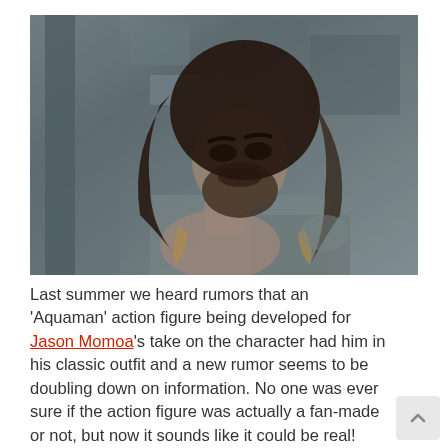[Figure (photo): Black and white photo of Jason Momoa as Aquaman, with long wavy hair and beard, wearing scale-patterned costume, looking intensely to the side against a gritty stone wall background.]
Last summer we heard rumors that an 'Aquaman' action figure being developed for Jason Momoa's take on the character had him in his classic outfit and a new rumor seems to be doubling down on information. No one was ever sure if the action figure was actually a fan-made or not, but now it sounds like it could be real!